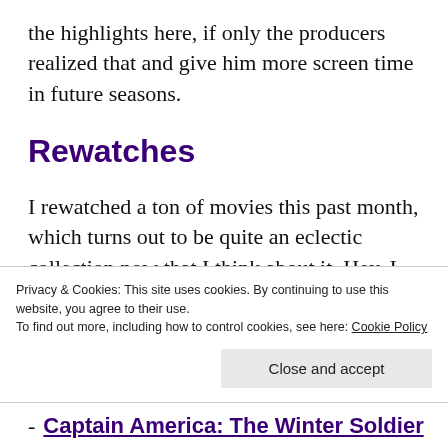the highlights here, if only the producers realized that and give him more screen time in future seasons.
Rewatches
I rewatched a ton of movies this past month, which turns out to be quite an eclectic collection now that I think about it. Hey, I love the action stuff as much as the romantic love
Privacy & Cookies: This site uses cookies. By continuing to use this website, you agree to their use.
To find out more, including how to control cookies, see here: Cookie Policy
Close and accept
Captain America: The Winter Soldier